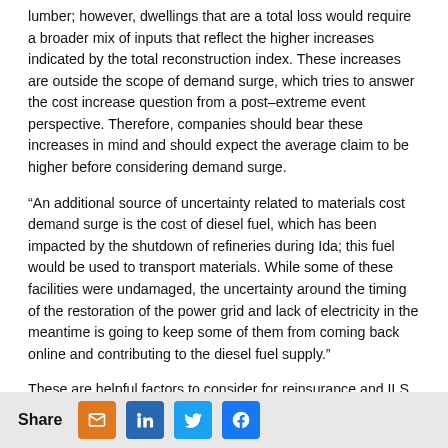lumber; however, dwellings that are a total loss would require a broader mix of inputs that reflect the higher increases indicated by the total reconstruction index. These increases are outside the scope of demand surge, which tries to answer the cost increase question from a post–extreme event perspective. Therefore, companies should bear these increases in mind and should expect the average claim to be higher before considering demand surge.
“An additional source of uncertainty related to materials cost demand surge is the cost of diesel fuel, which has been impacted by the shutdown of refineries during Ida; this fuel would be used to transport materials. While some of these facilities were undamaged, the uncertainty around the timing of the restoration of the power grid and lack of electricity in the meantime is going to keep some of them from coming back online and contributing to the diesel fuel supply.”
These are helpful factors to consider for reinsurance and ILS firms looking to get their own estimates of impacts to portfolios
Share